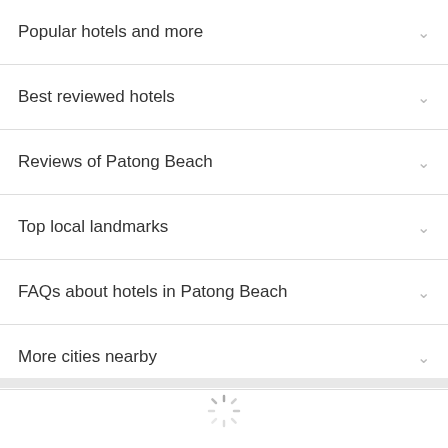Popular hotels and more
Best reviewed hotels
Reviews of Patong Beach
Top local landmarks
FAQs about hotels in Patong Beach
More cities nearby
[Figure (other): Loading spinner animation at the bottom of the page]